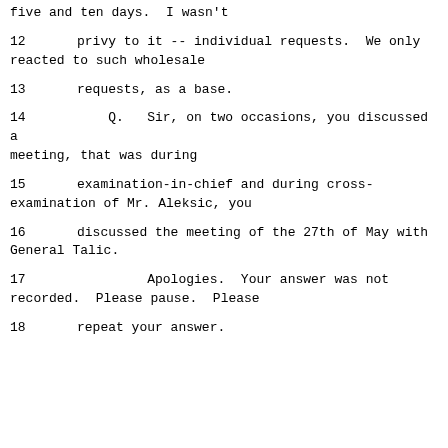five and ten days.  I wasn't
12      privy to it -- individual requests.  We only reacted to such wholesale
13      requests, as a base.
14          Q.   Sir, on two occasions, you discussed a meeting, that was during
15      examination-in-chief and during cross-examination of Mr. Aleksic, you
16      discussed the meeting of the 27th of May with General Talic.
17              Apologies.  Your answer was not recorded.  Please pause.  Please
18      repeat your answer.